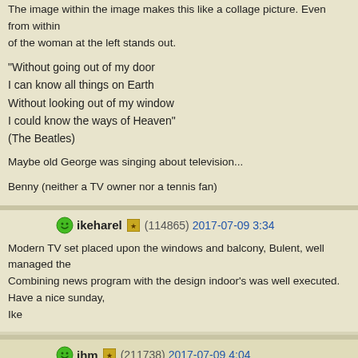The image within the image makes this like a collage picture. Even from within of the woman at the left stands out.
"Without going out of my door
I can know all things on Earth
Without looking out of my window
I could know the ways of Heaven"
(The Beatles)
Maybe old George was singing about television...
Benny (neither a TV owner nor a tennis fan)
ikeharel (114865) 2017-07-09 3:34
Modern TV set placed upon the windows and balcony, Bulent, well managed the. Combining news program with the design indoor's was well executed.
Have a nice sunday,
Ike
jhm (211738) 2017-07-09 4:04
Dear Bulent,

I've never tried take a picture with the screen of TV as subject, but you did wond. Sharpness and clarity are perfect.
Very well done, TFS.